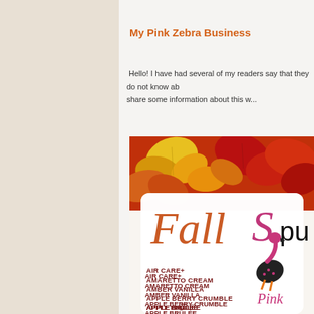My Pink Zebra Business
Hello! I have had several of my readers say that they do not know ab... share some information about this w...
[Figure (illustration): A Pink Zebra branded promotional flyer for Fall scents, featuring autumn leaves (orange, red, yellow) at the top, a decorative card with 'Fall' in orange italic script and 'Sp' with a pink zebra flamingo logo, and a list of product scents: AIR CARE+, AMARETTO CREAM, AMBER VANILLA, APPLE BERRY CRUMBLE, APPLE BRÛLÉE, APPLE CHAI, APPLE CHERRY CRISP]